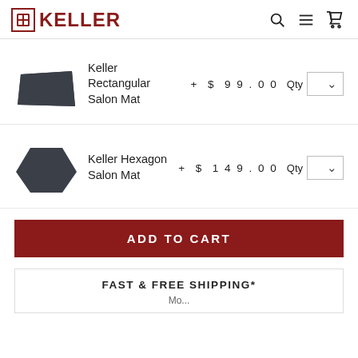KELLER
Keller Rectangular Salon Mat + $ 99.00 Qty
Keller Hexagon Salon Mat + $ 149.00 Qty
ADD TO CART
FAST & FREE SHIPPING*
Mo...